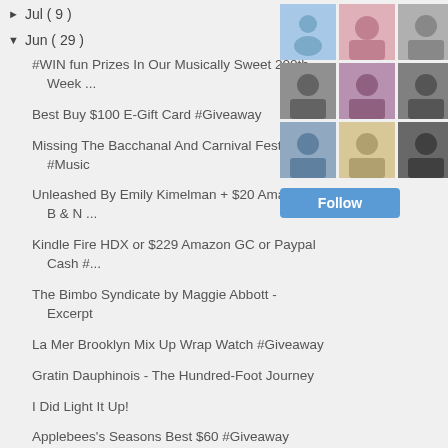► Jul ( 9 )
▼ Jun ( 29 )
#WIN fun Prizes In Our Musically Sweet 200th Week ...
Best Buy $100 E-Gift Card #Giveaway
Missing The Bacchanal And Carnival Festivals - #Music
Unleashed By Emily Kimelman + $20 Amazon or B & N ...
Kindle Fire HDX or $229 Amazon GC or Paypal Cash #...
The Bimbo Syndicate by Maggie Abbott - Excerpt
La Mer Brooklyn Mix Up Wrap Watch #Giveaway
Gratin Dauphinois - The Hundred-Foot Journey
I Did Light It Up!
Applebees's Seasons Best $60 #Giveaway
#TheLogoMovie #Giveaway And Awesome Blog...
[Figure (photo): Grid of 9 follower/member avatar photos in a blog sidebar widget, with a blue Follow button below]